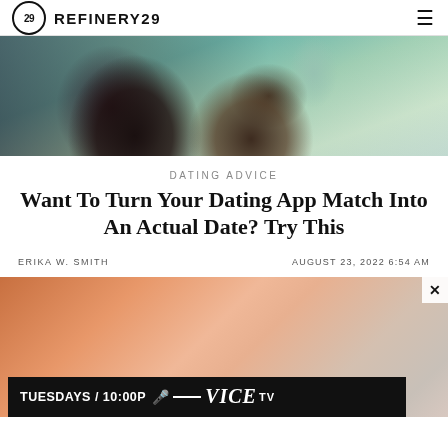REFINERY29
[Figure (photo): Close-up photo of two people holding hands, one wearing a gold ring and orange bracelet, with teal/mint colored clothing in the background]
DATING ADVICE
Want To Turn Your Dating App Match Into An Actual Date? Try This
ERIKA W. SMITH
AUGUST 23, 2022 6:54 AM
[Figure (photo): Close-up photo of hands, with a VICE TV advertisement banner overlay reading TUESDAYS / 10:00P with VICE TV logo]